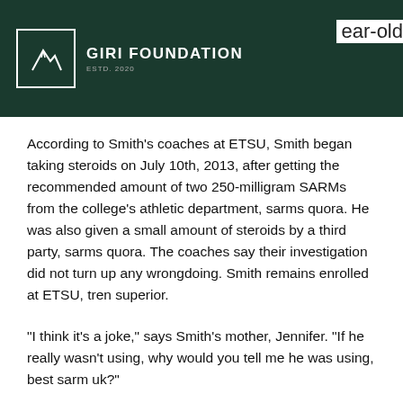GIRI FOUNDATION ESTD. 2020
According to Smith's coaches at ETSU, Smith began taking steroids on July 10th, 2013, after getting the recommended amount of two 250-milligram SARMs from the college's athletic department, sarms quora. He was also given a small amount of steroids by a third party, sarms quora. The coaches say their investigation did not turn up any wrongdoing. Smith remains enrolled at ETSU, tren superior.
"I think it's a joke," says Smith's mother, Jennifer. "If he really wasn't using, why would you tell me he was using, best sarm uk?"
Smith's former coach at ETSU says he heard that Smith was being given steroids after one